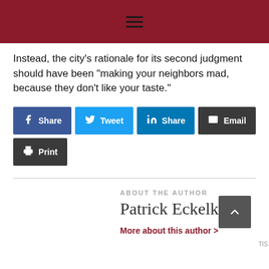Instead, the city's rationale for its second judgment should have been "making your neighbors mad, because they don't like your taste."
[Figure (infographic): Social share buttons: Facebook Share, Twitter Tweet, LinkedIn Share, Email, Print]
ABOUT THE AUTHOR
Patrick Eckelkamp
More about this author >